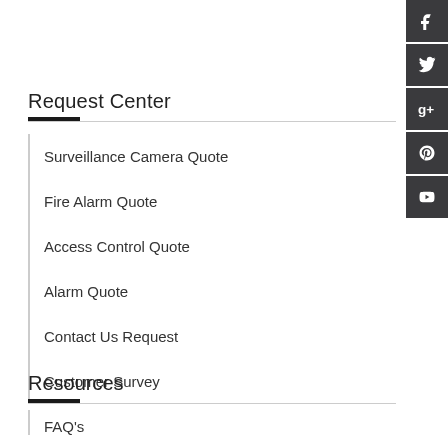[Figure (other): Social media icon buttons sidebar: Facebook, Twitter, Google+, Pinterest, YouTube]
Request Center
Surveillance Camera Quote
Fire Alarm Quote
Access Control Quote
Alarm Quote
Contact Us Request
Customer Survey
Resources
FAQ's